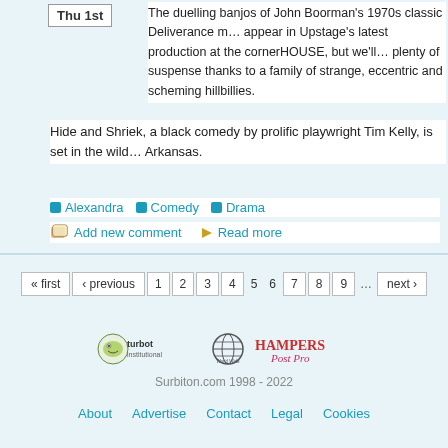Thu 1st
The duelling banjos of John Boorman’s 1970s classic Deliverance m... appear in Upstage’s latest production at the cornerHOUSE, but we’ll... plenty of suspense thanks to a family of strange, eccentric and scheming hillbillies.
Hide and Shriek, a black comedy by prolific playwright Tim Kelly, is set in the wild... Arkansas.
Alexandra
Comedy
Drama
Add new comment
Read more
« first ‹ previous 1 2 3 4 5 6 7 8 9 ... next ›
[Figure (logo): Turbot institutional logo, World Wide web globe icon, and Hampers Post Pro logo]
Surbiton.com 1998 - 2022
About  Advertise  Contact  Legal  Cookies